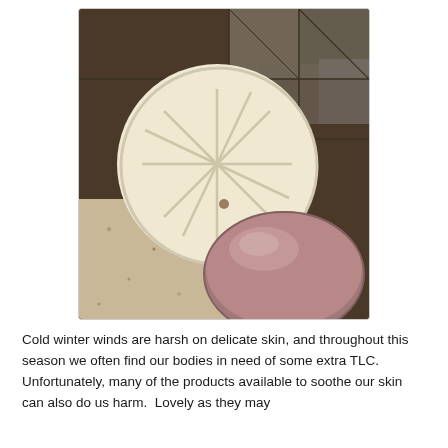[Figure (photo): Two round soap bars on a granite surface — one cream/white colored with a decorative starburst imprint on top, one brownish/mauve colored, both circular and disc-shaped.]
Cold winter winds are harsh on delicate skin, and throughout this season we often find our bodies in need of some extra TLC.  Unfortunately, many of the products available to soothe our skin can also do us harm.  Lovely as they may